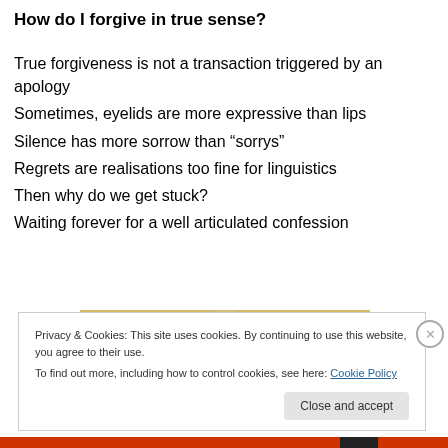How do I forgive in true sense?
True forgiveness is not a transaction triggered by an apology
Sometimes, eyelids are more expressive than lips
Silence has more sorrow than “sorrys”
Regrets are realisations too fine for linguistics
Then why do we get stuck?
Waiting forever for a well articulated confession
[Figure (photo): A dirt road path through dry grassland/field, warm golden-brown tones]
Privacy & Cookies: This site uses cookies. By continuing to use this website, you agree to their use.
To find out more, including how to control cookies, see here: Cookie Policy
Close and accept